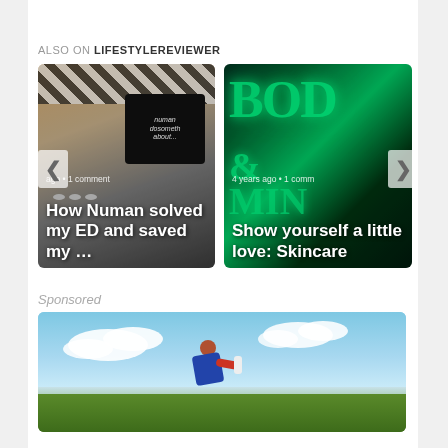ALSO ON LIFESTYLEREVIEWER
[Figure (screenshot): Carousel widget showing two article cards. Left card: 'How Numan solved my ED and saved my …' with a product photo (medication packaging) and '1 comment' meta. Right card: 'Show yourself a little love: Skincare' with a neon green BOD... sign photo and '4 years ago • 1 comm' meta. Left chevron arrow on left, right chevron arrow on right.]
Sponsored
[Figure (photo): Sponsored image showing a person (golfer or cyclist) outdoors against a blue sky with clouds and green trees/foliage in the background.]